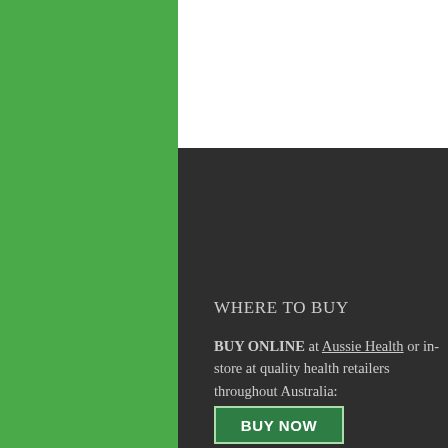[Figure (other): White rectangular area at top of center panel, representing product image area (blank/white)]
WHERE TO BUY
BUY ONLINE at Aussie Health or in-store at quality health retailers throughout Australia:
[Figure (other): Green 'BUY NOW' button]